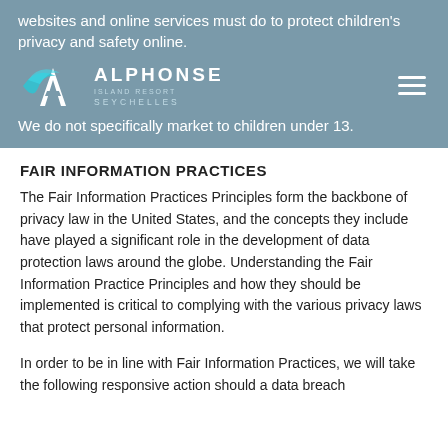websites and online services must do to protect children's privacy and safety online.
[Figure (logo): Alphonse Seychelles logo with teal bird/arrow graphic and wordmark]
We do not specifically market to children under 13.
FAIR INFORMATION PRACTICES
The Fair Information Practices Principles form the backbone of privacy law in the United States, and the concepts they include have played a significant role in the development of data protection laws around the globe. Understanding the Fair Information Practice Principles and how they should be implemented is critical to complying with the various privacy laws that protect personal information.
In order to be in line with Fair Information Practices, we will take the following responsive action should a data breach